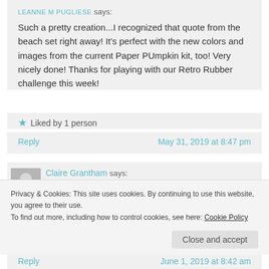LEANNE M PUGLIESE says:
Such a pretty creation...I recognized that quote from the beach set right away! It's perfect with the new colors and images from the current Paper PUmpkin kit, too! Very nicely done! Thanks for playing with our Retro Rubber challenge this week!
Liked by 1 person
Reply    May 31, 2019 at 8:47 pm
Claire Grantham says:
So happy you found us. Love this gorgeous card, I
Privacy & Cookies: This site uses cookies. By continuing to use this website, you agree to their use.
To find out more, including how to control cookies, see here: Cookie Policy
Close and accept
Reply    June 1, 2019 at 8:42 am